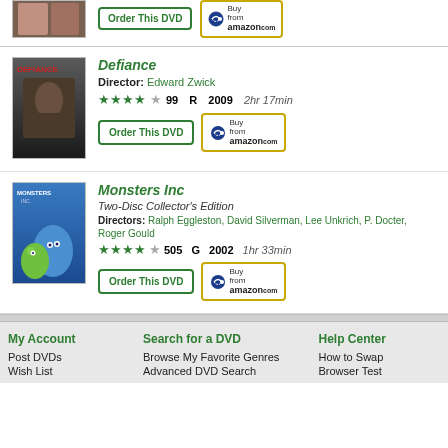[Figure (photo): Partial movie cover thumbnail at top]
Order This DVD
Buy from amazon.com
[Figure (photo): Defiance movie poster showing Daniel Craig]
Defiance
Director: Edward Zwick
★★★★☆ 99  R  2009  2hr 17min
Order This DVD
Buy from amazon.com
[Figure (photo): Monsters Inc movie poster]
Monsters Inc
Two-Disc Collector's Edition
Directors: Ralph Eggleston, David Silverman, Lee Unkrich, P. Docter, Roger Gould
★★★★☆ 505  G  2002  1hr 33min
Order This DVD
Buy from amazon.com
My Account
Post DVDs
Wish List
Search for a DVD
Browse My Favorite Genres
Advanced DVD Search
Help Center
How to Swap
Browser Test